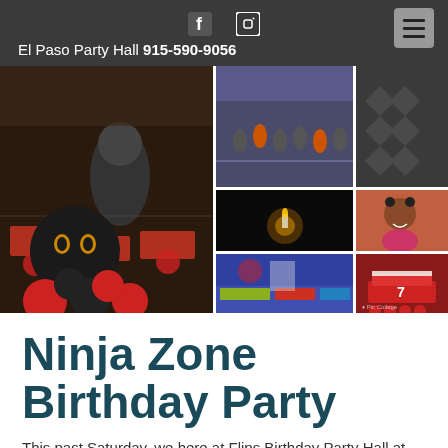El Paso Party Hall 915-590-9056
[Figure (photo): Collage of Ninja Zone birthday party photos: party room with ninja mascot and decorated tables, children gymnastics/ninja activities, textured wall panel, dark room with birthday candle, smiling girl in pink, black and red ninja balloon arrangement, gymnastics gym interior, red birthday cake with decorations and cupcakes, child with gymnastics equipment]
Ninja Zone Birthday Party
This past Saturday, we here at Flips Birthday Party Hall at the...